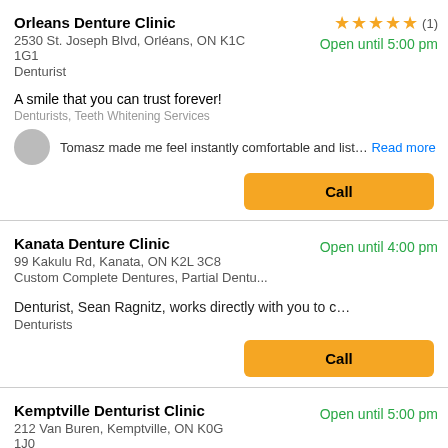Orleans Denture Clinic
2530 St. Joseph Blvd, Orléans, ON K1C 1G1
Denturist
★★★★★ (1)
Open until 5:00 pm
A smile that you can trust forever!
Denturists, Teeth Whitening Services
Tomasz made me feel instantly comfortable and list… Read more
Call
Kanata Denture Clinic
99 Kakulu Rd, Kanata, ON K2L 3C8
Custom Complete Dentures, Partial Dentu...
Open until 4:00 pm
Denturist, Sean Ragnitz, works directly with you to c…
Denturists
Call
Kemptville Denturist Clinic
212 Van Buren, Kemptville, ON K0G 1J0
Open until 5:00 pm